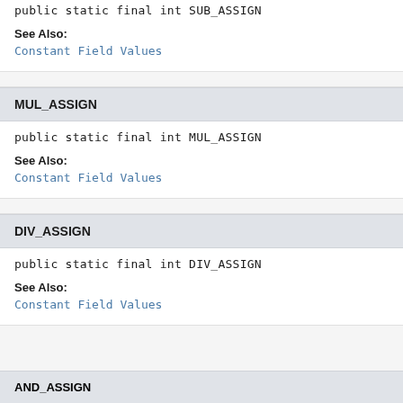public static final int SUB_ASSIGN
See Also:
Constant Field Values
MUL_ASSIGN
public static final int MUL_ASSIGN
See Also:
Constant Field Values
DIV_ASSIGN
public static final int DIV_ASSIGN
See Also:
Constant Field Values
AND_ASSIGN